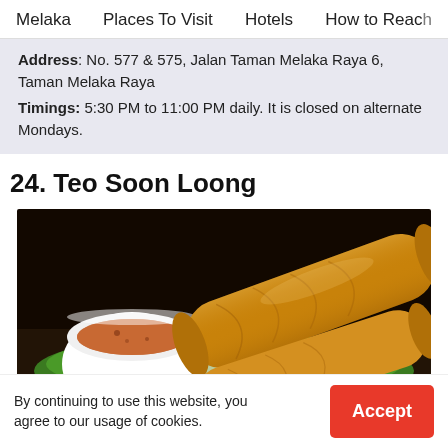Melaka | Places To Visit | Hotels | How to Reach
Address: No. 577 & 575, Jalan Taman Melaka Raya 6, Taman Melaka Raya
Timings: 5:30 PM to 11:00 PM daily. It is closed on alternate Mondays.
24. Teo Soon Loong
[Figure (photo): Fried spring rolls (egg rolls) on a green plate with a white dipping sauce bowl containing an orange-brown dipping sauce, dark background]
By continuing to use this website, you agree to our usage of cookies.